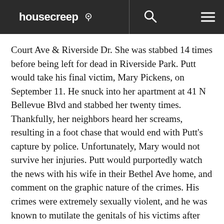housecreep
Court Ave & Riverside Dr. She was stabbed 14 times before being left for dead in Riverside Park. Putt would take his final victim, Mary Pickens, on September 11. He snuck into her apartment at 41 N Bellevue Blvd and stabbed her twenty times. Thankfully, her neighbors heard her screams, resulting in a foot chase that would end with Putt's capture by police. Unfortunately, Mary would not survive her injuries. Putt would purportedly watch the news with his wife in their Bethel Ave home, and comment on the graphic nature of the crimes. His crimes were extremely sexually violent, and he was known to mutilate the genitals of his victims after they had been killed.